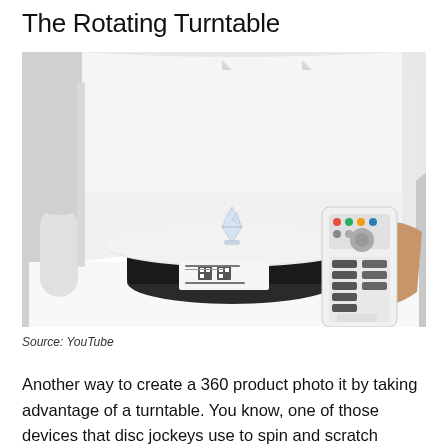The Rotating Turntable
[Figure (photo): A black rotating turntable platform on a white surface inside a photography light box, with a small crystal figurine on top. A hand holds a white remote control toward the turntable. A white cylindrical object is visible to the left.]
Source: YouTube
Another way to create a 360 product photo it by taking advantage of a turntable. You know, one of those devices that disc jockeys use to spin and scratch records. You can